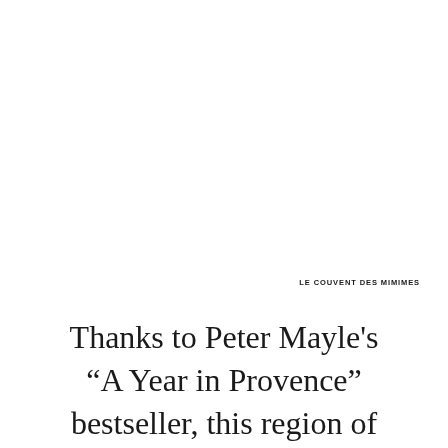LE COUVENT DES MIMIMES
Thanks to Peter Mayle's “A Year in Provence” bestseller, this region of